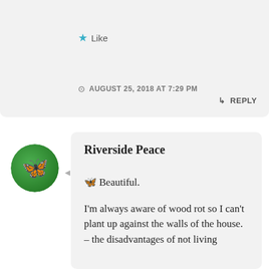★ Like
AUGUST 25, 2018 AT 7:29 PM
↳ REPLY
Riverside Peace
🦋 Beautiful.
I'm always aware of wood rot so I can't plant up against the walls of the house. – the disadvantages of not living